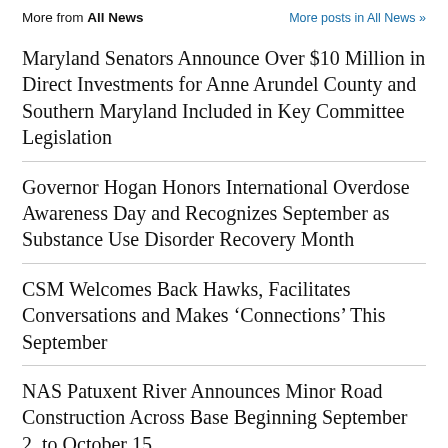More from All News | More posts in All News »
Maryland Senators Announce Over $10 Million in Direct Investments for Anne Arundel County and Southern Maryland Included in Key Committee Legislation
Governor Hogan Honors International Overdose Awareness Day and Recognizes September as Substance Use Disorder Recovery Month
CSM Welcomes Back Hawks, Facilitates Conversations and Makes ‘Connections’ This September
NAS Patuxent River Announces Minor Road Construction Across Base Beginning September 2, to October 15